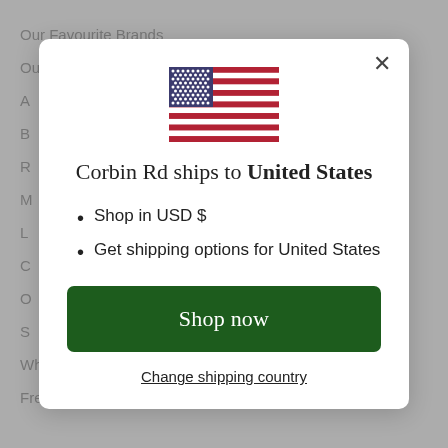Our Favourite Brands
Our Story
A
B
R
M
L
C
O
S
Wholesale
Frequently Asked Questions
[Figure (screenshot): Modal dialog showing US flag, text 'Corbin Rd ships to United States', bullet points 'Shop in USD $' and 'Get shipping options for United States', a green 'Shop now' button, and a 'Change shipping country' link.]
Corbin Rd ships to United States
Shop in USD $
Get shipping options for United States
Shop now
Change shipping country